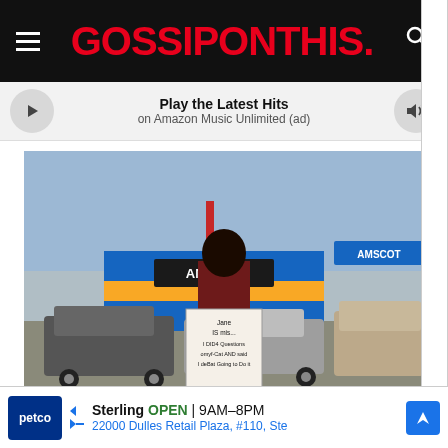GOSSIPONTHIS.
Play the Latest Hits on Amazon Music Unlimited (ad)
[Figure (photo): News footage still from FOX showing a woman standing in a parking lot in front of AMSCOT, holding a handwritten sign. FOX logo visible in bottom left corner.]
Sterling OPEN 9AM–8PM 22000 Dulles Retail Plaza, #110, Ste (Petco ad)